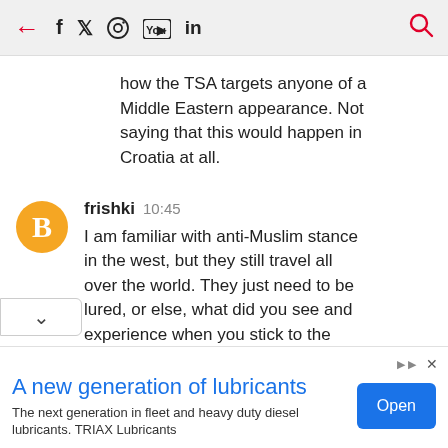← f twitter instagram youtube in 🔍
how the TSA targets anyone of a Middle Eastern appearance. Not saying that this would happen in Croatia at all.
frishki 10:45
I am familiar with anti-Muslim stance in the west, but they still travel all over the world. They just need to be lured, or else, what did you see and experience when you stick to the pretty much same environment you have at home?
A new generation of lubricants
The next generation in fleet and heavy duty diesel lubricants. TRIAX Lubricants
Open